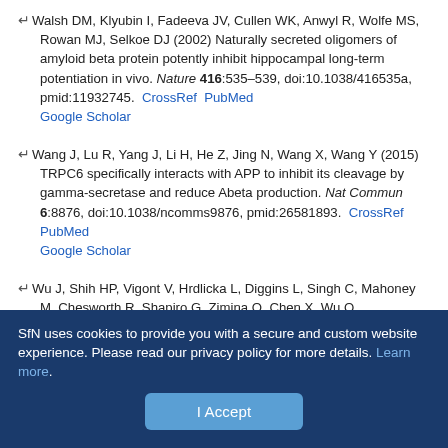Walsh DM, Klyubin I, Fadeeva JV, Cullen WK, Anwyl R, Wolfe MS, Rowan MJ, Selkoe DJ (2002) Naturally secreted oligomers of amyloid beta protein potently inhibit hippocampal long-term potentiation in vivo. Nature 416:535–539, doi:10.1038/416535a, pmid:11932745. CrossRef PubMed Google Scholar
Wang J, Lu R, Yang J, Li H, He Z, Jing N, Wang X, Wang Y (2015) TRPC6 specifically interacts with APP to inhibit its cleavage by gamma-secretase and reduce Abeta production. Nat Commun 6:8876, doi:10.1038/ncomms9876, pmid:26581893. CrossRef PubMed Google Scholar
Wu J, Shih HP, Vigont V, Hrdlicka L, Diggins L, Singh C, Mahoney M, Chesworth R, Shapiro G, Zimina O, Chen X, Wu Q, Glushankova L, Ahlijanian M, Koenig G, Mozhayeva GN, Kaznacheyeva E, Bezprozvanny I (2011) Neuronal store-operated calcium entry pathway as a novel therapeutic target for Huntington's disease treatment. Chem Biol 18:777–
SfN uses cookies to provide you with a secure and custom website experience. Please read our privacy policy for more details. Learn more.